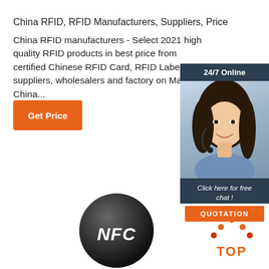China RFID, RFID Manufacturers, Suppliers, Price
China RFID manufacturers - Select 2021 high quality RFID products in best price from certified Chinese RFID Card, RFID Label suppliers, wholesalers and factory on Made-in-China...
[Figure (other): Orange 'Get Price' button]
[Figure (other): 24/7 Online chat widget with woman wearing headset, 'Click here for free chat!' text and orange QUOTATION button]
[Figure (other): Black NFC coin/tag with NFC logo]
[Figure (logo): Orange and red TOP icon with dots above text]